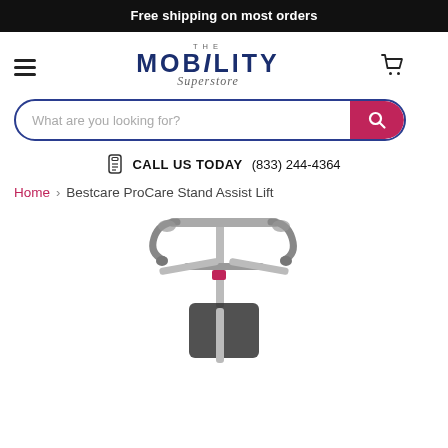Free shipping on most orders
[Figure (logo): The Mobility Superstore logo with hamburger menu and cart icon]
What are you looking for? [search bar with pink search button]
CALL US TODAY (833) 244-4364
Home > Bestcare ProCare Stand Assist Lift
[Figure (photo): Bestcare ProCare Stand Assist Lift product photo, partial view of the top portion of the device showing handles and frame in silver/grey color]